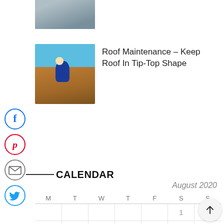[Figure (photo): Partial construction/roofing photo at top]
[Figure (photo): Roof maintenance photo showing worker on tiled roof]
Roof Maintenance – Keep Roof In Tip-Top Shape
[Figure (infographic): Social media share icons: Facebook, Pinterest, Email, Twitter]
CALENDAR
August 2020
| M | T | W | T | F | S | S |
| --- | --- | --- | --- | --- | --- | --- |
|  |  |  |  |  | 1 | 2 |
| 3 | 4 | 5 | 6 | 7 | 8 | 9 |
| 10 | 11 | 12 | 13 | 14 | 15 |  |